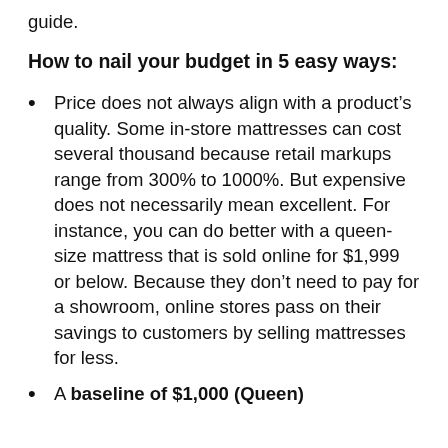guide.
How to nail your budget in 5 easy ways:
Price does not always align with a product’s quality. Some in-store mattresses can cost several thousand because retail markups range from 300% to 1000%. But expensive does not necessarily mean excellent. For instance, you can do better with a queen-size mattress that is sold online for $1,999 or below. Because they don’t need to pay for a showroom, online stores pass on their savings to customers by selling mattresses for less.
A baseline of $1,000 (Queen)